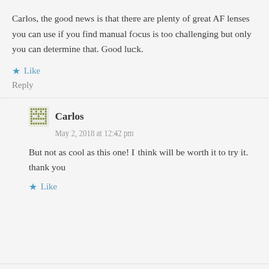Carlos, the good news is that there are plenty of great AF lenses you can use if you find manual focus is too challenging but only you can determine that. Good luck.
★ Like
Reply
Carlos
May 2, 2018 at 12:42 pm
But not as cool as this one! I think will be worth it to try it.
thank you
★ Like